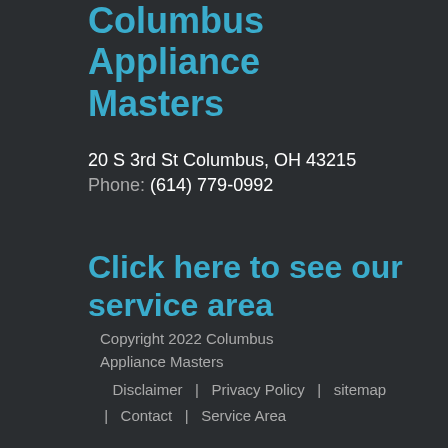Columbus Appliance Masters
20 S 3rd St Columbus, OH 43215
Phone: (614) 779-0992
Click here to see our service area
Copyright 2022 Columbus Appliance Masters
| Disclaimer  |  Privacy Policy  |  sitemap
|  Contact  |  Service Area